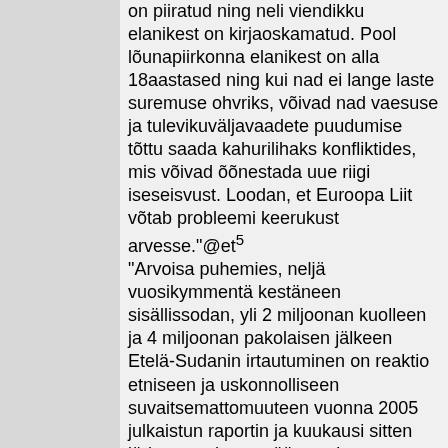on piiratud ning neli viendikku elanikest on kirjaoskamatud. Pool lõunapiirkonna elanikest on alla 18aastased ning kui nad ei lange laste suremuse ohvriks, võivad nad vaesuse ja tulevikuväljavaadete puudumise tõttu saada kahurilihaks konfliktides, mis võivad õõnestada uue riigi iseseisvust. Loodan, et Euroopa Liit võtab probleemi keerukust arvesse."@et⁵
"Arvoisa puhemies, neljä vuosikymmentä kestäneen sisällissodan, yli 2 miljoonan kuolleen ja 4 miljoonan pakolaisen jälkeen Etelä-Sudanin irtautuminen on reaktio etniseen ja uskonnolliseen suvaitsemattomuuteen vuonna 2005 julkaistun raportin ja kuukausi sitten järjestetyn kansanäänestyksen jälkeen. Osapuolet ovat sopineet